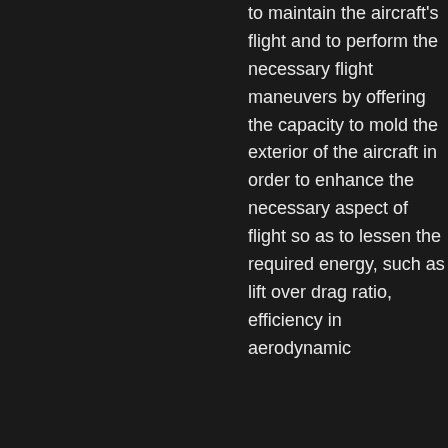to maintain the aircraft's flight and to perform the necessary flight maneuvers by offering the capacity to mold the exterior of the aircraft in order to enhance the necessary aspect of flight so as to lessen the required energy, such as lift over drag ratio, efficiency in aerodynamic